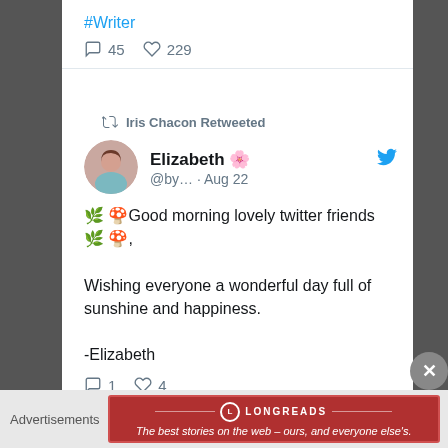#Writer
💬 45   ♡ 229
🔁 Iris Chacon Retweeted
Elizabeth 🌸  @by… · Aug 22
🌿 🍄Good morning lovely twitter friends🌿 🍄,

Wishing everyone a wonderful day full of sunshine and happiness.

-Elizabeth
💬 1   ♡ 4
Advertisements
[Figure (screenshot): Longreads advertisement banner: red background with logo and text 'The best stories on the web – ours, and everyone else's.']